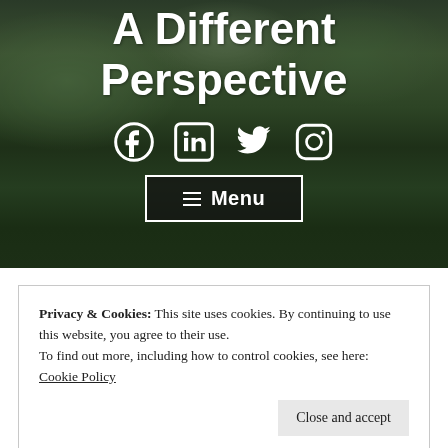[Figure (photo): Aerial view of densely forested mountain landscape with dark green pine and deciduous trees covering rolling hills, used as hero background image]
A Different Perspective
[Figure (infographic): Four social media icons in white: Facebook, LinkedIn, Twitter, Instagram]
☰ Menu
Privacy & Cookies: This site uses cookies. By continuing to use this website, you agree to their use.
To find out more, including how to control cookies, see here: Cookie Policy
Close and accept